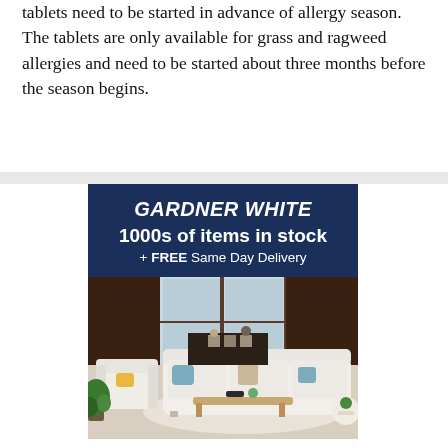tablets need to be started in advance of allergy season. The tablets are only available for grass and ragweed allergies and need to be started about three months before the season begins.
[Figure (illustration): Gardner White furniture store advertisement banner. Dark navy blue header with italic bold text 'GARDNER WHITE', below '1000s of items in stock' and '+ FREE Same Day Delivery'. Below the header is a photo of a bright living room showroom with white sofas, armchairs, a coffee table, and decorative plants.]